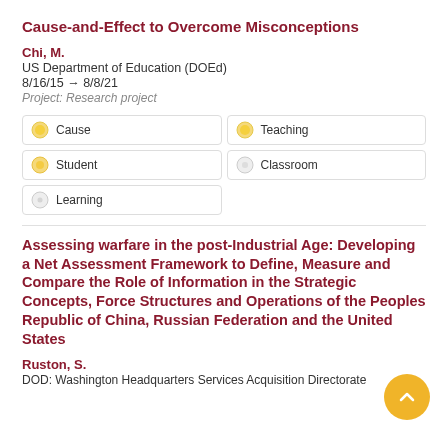Cause-and-Effect to Overcome Misconceptions
Chi, M.
US Department of Education (DOEd)
8/16/15 → 8/8/21
Project: Research project
Cause
Teaching
Student
Classroom
Learning
Assessing warfare in the post-Industrial Age: Developing a Net Assessment Framework to Define, Measure and Compare the Role of Information in the Strategic Concepts, Force Structures and Operations of the Peoples Republic of China, Russian Federation and the United States
Ruston, S.
DOD: Washington Headquarters Services Acquisition Directorate